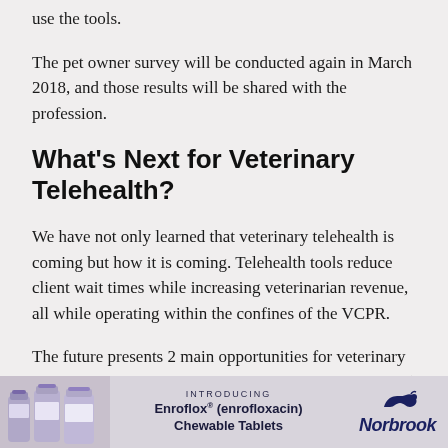use the tools.
The pet owner survey will be conducted again in March 2018, and those results will be shared with the profession.
What's Next for Veterinary Telehealth?
We have not only learned that veterinary telehealth is coming but how it is coming. Telehealth tools reduce client wait times while increasing veterinarian revenue, all while operating within the confines of the VCPR.
The future presents 2 main opportunities for veterinary healthcare: (1) further clarifying legisla... incor...
[Figure (advertisement): Advertisement banner for Enroflox (enrofloxacin) Chewable Tablets by Norbrook, with product bottles on the left and Norbrook logo on the right.]